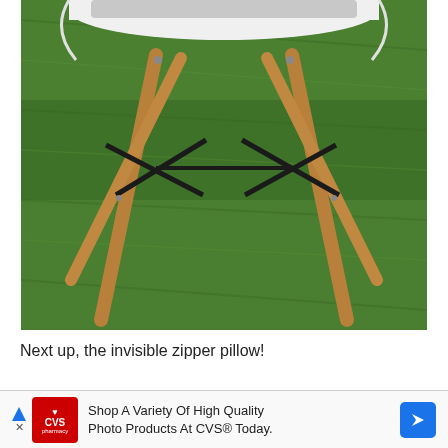[Figure (photo): A white modern chair with wooden dowel legs and black cross-brace supports, with a gray cushion visible at top, photographed outdoors on green grass from a low angle showing mostly the legs and lower body of the chair.]
Next up, the invisible zipper pillow!
[Figure (other): Advertisement banner for CVS Pharmacy: 'Shop A Variety Of High Quality Photo Products At CVS® Today.' with CVS pharmacy logo on the left and a blue navigation arrow icon on the right.]